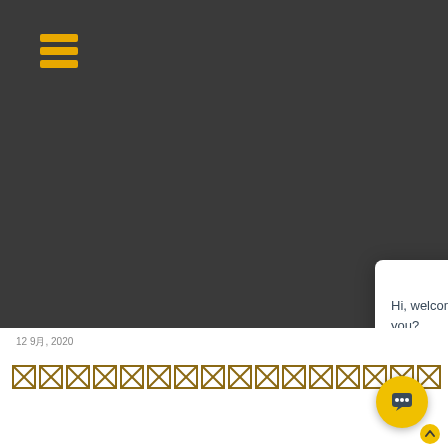[Figure (screenshot): Dark background website header with hamburger menu icon in gold/yellow color top left]
Hi, welcome to MWKA. How may I help you?
Our chat is online during office hours (9am-6pm +8GMT). You can still start a chat outside office hours and our team will reply to you the next working day.
12 9月, 2020
囧囧囧囧囧囧囧囧囧囧囧囧囧囧囧囧